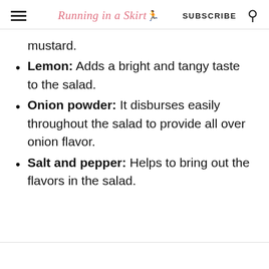Running in a Skirt — SUBSCRIBE
mustard.
Lemon: Adds a bright and tangy taste to the salad.
Onion powder: It disburses easily throughout the salad to provide all over onion flavor.
Salt and pepper: Helps to bring out the flavors in the salad.